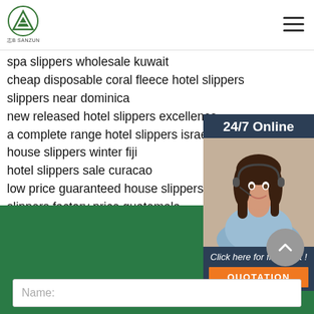[Figure (logo): Green triangle/mountain logo with Chinese text below reading 志B SANZUN]
spa slippers wholesale kuwait
cheap disposable coral fleece hotel slippers
slippers near dominica
new released hotel slippers excellence
a complete range hotel slippers israel
house slippers winter fiji
hotel slippers sale curacao
low price guaranteed house slippers m
slippers factory price guatemala
top-quality house slippers dominican
a complete range house slippers morc
[Figure (photo): Customer service chat widget showing 24/7 Online label, photo of woman with headset, Click here for free chat text, and orange QUOTATION button]
[Figure (other): Green footer area with grey scroll-to-top button (chevron up)]
Name: